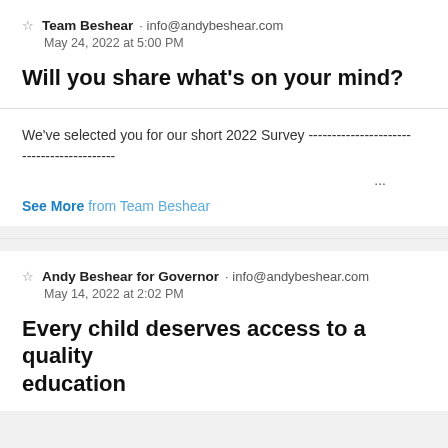Team Beshear · info@andybeshear.com
May 24, 2022 at 5:00 PM
Will you share what's on your mind?
We've selected you for our short 2022 Survey --------------------------------------------- ...
See More from Team Beshear
Andy Beshear for Governor · info@andybeshear.com
May 14, 2022 at 2:02 PM
Every child deserves access to a quality education